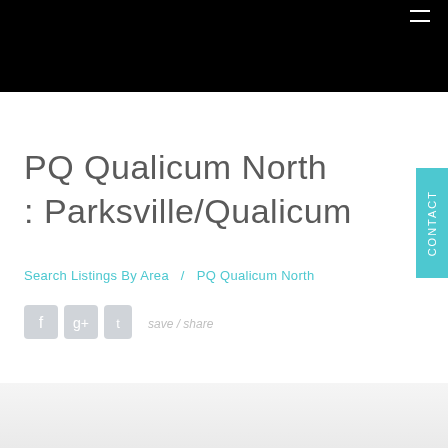PQ Qualicum North
:  Parksville/Qualicum
Search Listings By Area  /  PQ Qualicum North
[Figure (screenshot): Social media share icons (Facebook, Google+, Twitter) and a share button label]